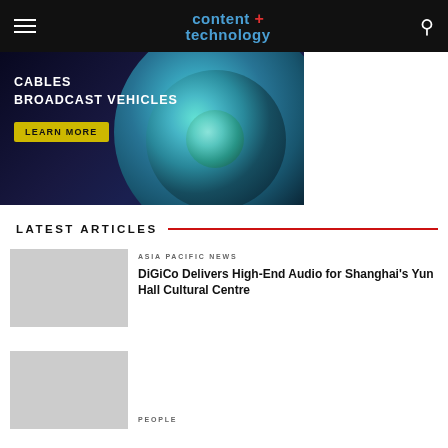content + technology
[Figure (photo): Camera lens close-up with ad overlay text: CABLES, BROADCAST VEHICLES, LEARN MORE button]
LATEST ARTICLES
ASIA PACIFIC NEWS
DiGiCo Delivers High-End Audio for Shanghai's Yun Hall Cultural Centre
PEOPLE